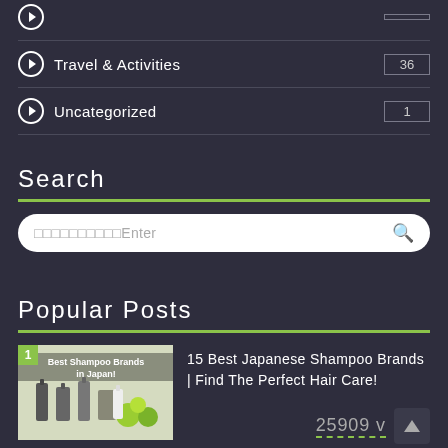Travel & Activities 36
Uncategorized 1
Search
□□□□□□□□□□Enter
Popular Posts
[Figure (photo): Thumbnail image of best shampoo brands in Japan with shampoo bottles and limes]
15 Best Japanese Shampoo Brands | Find The Perfect Hair Care!
25909 v